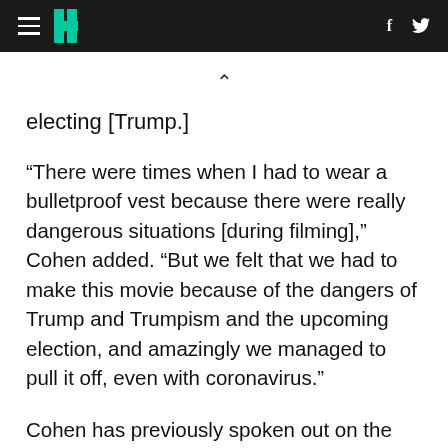HuffPost navigation header with hamburger menu, HuffPost logo, Facebook and Twitter icons
electing [Trump.]
“There were times when I had to wear a bulletproof vest because there were really dangerous situations [during filming],” Cohen added. “But we felt that we had to make this movie because of the dangers of Trump and Trumpism and the upcoming election, and amazingly we managed to pull it off, even with coronavirus.”
Cohen has previously spoken out on the challenges of filming the second “Borat.” In